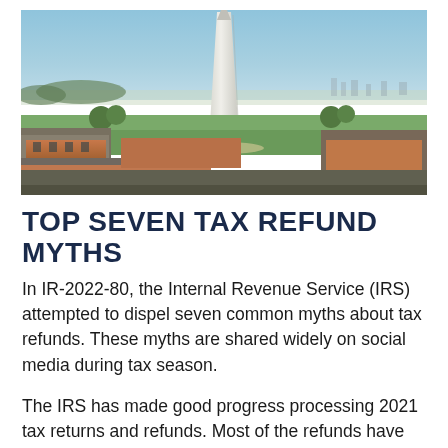[Figure (photo): Aerial photo of the Washington Monument obelisk rising above the National Mall in Washington D.C., with city skyline and trees visible in the background under a blue sky.]
TOP SEVEN TAX REFUND MYTHS
In IR-2022-80, the Internal Revenue Service (IRS) attempted to dispel seven common myths about tax refunds. These myths are shared widely on social media during tax season.
The IRS has made good progress processing 2021 tax returns and refunds. Most of the refunds have been issued within the 21 day target. As of April 1, over 63 million refunds with $204 billion in value have been